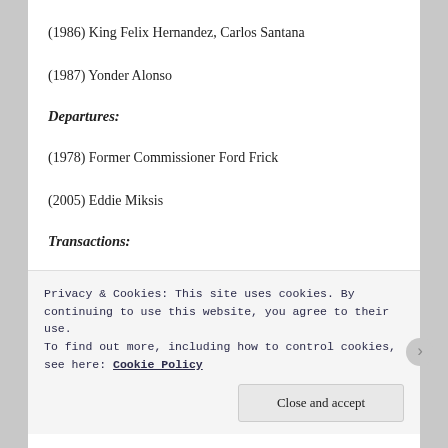(1986) King Felix Hernandez, Carlos Santana
(1987) Yonder Alonso
Departures:
(1978) Former Commissioner Ford Frick
(2005) Eddie Miksis
Transactions:
(1963) The Tigers sign Denny McClain, who had been placed on waivers by the White Sox.
Privacy & Cookies: This site uses cookies. By continuing to use this website, you agree to their use. To find out more, including how to control cookies, see here: Cookie Policy